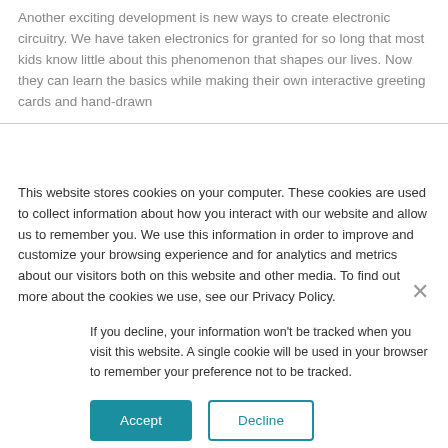Another exciting development is new ways to create electronic circuitry. We have taken electronics for granted for so long that most kids know little about this phenomenon that shapes our lives. Now they can learn the basics while making their own interactive greeting cards and hand-drawn
[Figure (screenshot): Cookie consent popup overlay with close X button, main cookie policy text, indented opt-out notice, and Accept/Decline buttons]
This website stores cookies on your computer. These cookies are used to collect information about how you interact with our website and allow us to remember you. We use this information in order to improve and customize your browsing experience and for analytics and metrics about our visitors both on this website and other media. To find out more about the cookies we use, see our Privacy Policy.
If you decline, your information won't be tracked when you visit this website. A single cookie will be used in your browser to remember your preference not to be tracked.